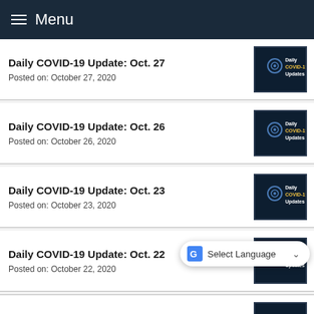Menu
Daily COVID-19 Update: Oct. 27
Posted on: October 27, 2020
[Figure (illustration): Daily COVID-19 Updates thumbnail image with dark blue background]
Daily COVID-19 Update: Oct. 26
Posted on: October 26, 2020
[Figure (illustration): Daily COVID-19 Updates thumbnail image with dark blue background]
Daily COVID-19 Update: Oct. 23
Posted on: October 23, 2020
[Figure (illustration): Daily COVID-19 Updates thumbnail image with dark blue background]
Daily COVID-19 Update: Oct. 22
Posted on: October 22, 2020
[Figure (illustration): Daily COVID-19 Updates thumbnail image with dark blue background]
Daily COVID-19 Update: Oct. 21
Posted on: October 21, 2020
[Figure (illustration): Daily COVID-19 Updates thumbnail image with dark blue background]